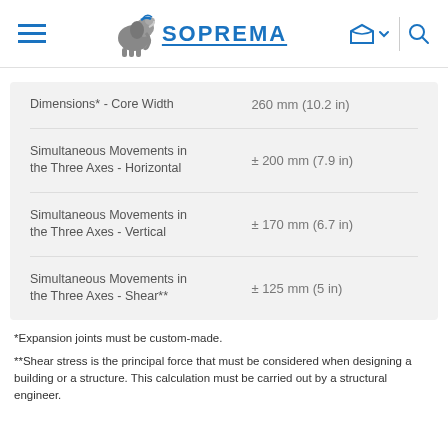SOPREMA
| Property | Value |
| --- | --- |
| Dimensions* - Core Width | 260 mm (10.2 in) |
| Simultaneous Movements in the Three Axes - Horizontal | ± 200 mm (7.9 in) |
| Simultaneous Movements in the Three Axes - Vertical | ± 170 mm (6.7 in) |
| Simultaneous Movements in the Three Axes - Shear** | ± 125 mm (5 in) |
*Expansion joints must be custom-made.
**Shear stress is the principal force that must be considered when designing a building or a structure. This calculation must be carried out by a structural engineer.